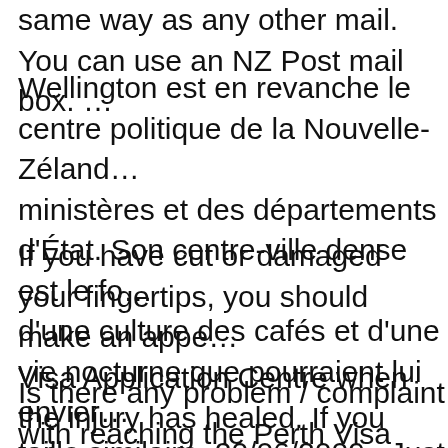same way as any other mail. You can use an NZ Post mail box. …
Wellington est en revanche le centre politique de la Nouvelle-Zéland… ministères et des départements d'État. Son centre-ville dense est le fo… d'une culture des cafés et d'une vie nocturne que pourraient lui envier… taille similaire. 20/06/2009 · Just a reminder: This is from the DIAC… address for posting offshore parent visa applications: From 25 May 2… Parents Centre (POPC) will be renamed the Parent Visa Centre (PVC… Level 3, 166 Murray Street, Perth, WA, 6000 to Wellington Central, …
If you have cut or damaged your fingertips, you should make an appe… Visa Application Centre when the injury has healed. If you refuse to … your visa application cannot be processed and you will be referred to… Affairs. A full selection of courses ranging from Art and Crafts to Pro… something new, increase your knowledge and skills, meet new people…
Is there any problem / complaint with reaching the Perth Visa and Ci… Northbridge, Western Australia Address or Phone number? Please re… below comment form. Rate your experience with the Perth Visa and c… Northbridge in Western Australia: (click on the stars below). Encom…